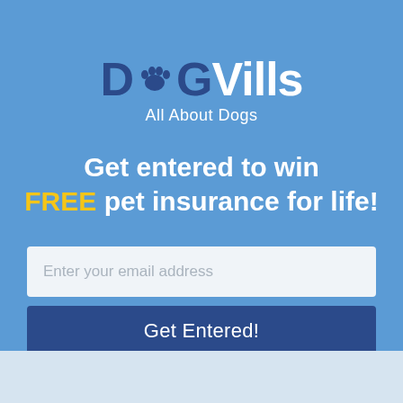[Figure (logo): DogVills logo with paw print replacing the 'o', dark blue 'D' and 'G' with paw icon, white 'Vills' text, subtitle 'All About Dogs' in white]
Get entered to win FREE pet insurance for life!
Enter your email address
Get Entered!